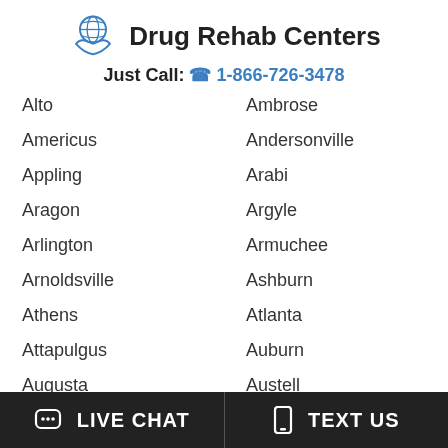Drug Rehab Centers
Just Call: 1-866-726-3478
Alto
Ambrose
Americus
Andersonville
Appling
Arabi
Aragon
Argyle
Arlington
Armuchee
Arnoldsville
Ashburn
Athens
Atlanta
Attapulgus
Auburn
Augusta
Austell
Avera
Avondale Estates
LIVE CHAT   TEXT US